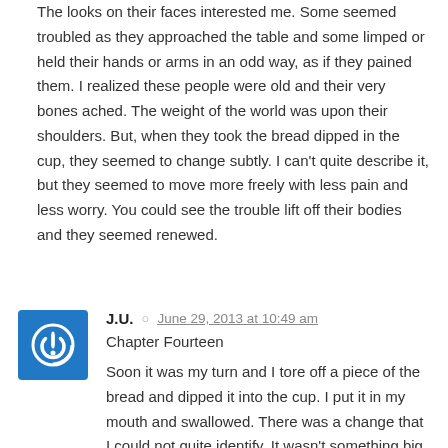The looks on their faces interested me. Some seemed troubled as they approached the table and some limped or held their hands or arms in an odd way, as if they pained them. I realized these people were old and their very bones ached. The weight of the world was upon their shoulders. But, when they took the bread dipped in the cup, they seemed to change subtly. I can't quite describe it, but they seemed to move more freely with less pain and less worry. You could see the trouble lift off their bodies and they seemed renewed.
J.U.  June 29, 2013 at 10:49 am
Chapter Fourteen
Soon it was my turn and I tore off a piece of the bread and dipped it into the cup. I put it in my mouth and swallowed. There was a change that I could not quite identify. It wasn't something big or miraculous, but somehow I felt different. It seemed that the void that I'd had in my chest all these years